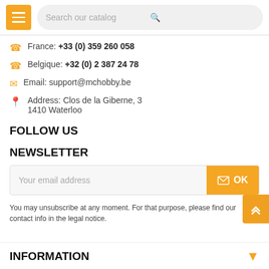[Figure (screenshot): Website header with orange hamburger menu button and search bar with 'Search our catalog' placeholder text and search icon]
France: +33 (0) 359 260 058
Belgique: +32 (0) 2 387 24 78
Email: support@mchobby.be
Address: Clos de la Giberne, 3
1410 Waterloo
FOLLOW US
NEWSLETTER
Your email address
You may unsubscribe at any moment. For that purpose, please find our contact info in the legal notice.
INFORMATION